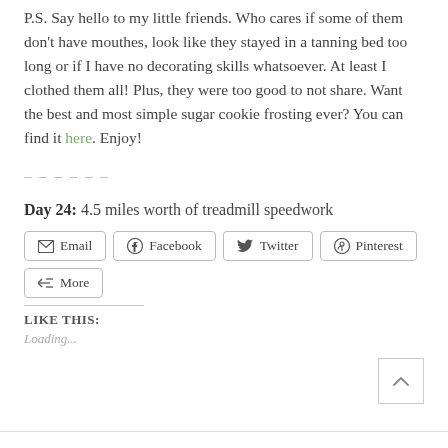P.S. Say hello to my little friends. Who cares if some of them don't have mouthes, look like they stayed in a tanning bed too long or if I have no decorating skills whatsoever. At least I clothed them all! Plus, they were too good to not share. Want the best and most simple sugar cookie frosting ever? You can find it here. Enjoy!
– – – – – –
Day 24: 4.5 miles worth of treadmill speedwork
Email | Facebook | Twitter | Pinterest | More
LIKE THIS:
Loading...